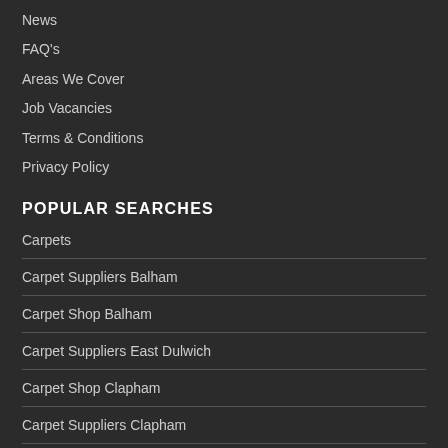News
FAQ's
Areas We Cover
Job Vacancies
Terms & Conditions
Privacy Policy
POPULAR SEARCHES
Carpets
Carpet Suppliers Balham
Carpet Shop Balham
Carpet Suppliers East Dulwich
Carpet Shop Clapham
Carpet Suppliers Clapham